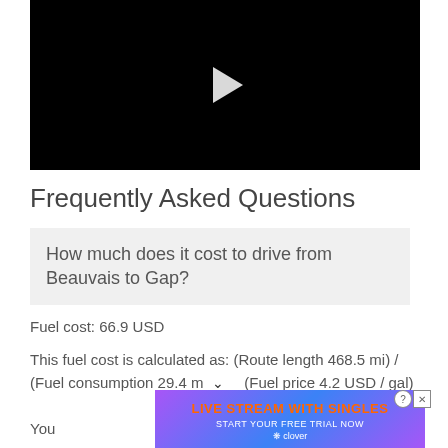[Figure (screenshot): Black video player with white play button triangle in center]
Frequently Asked Questions
How much does it cost to drive from Beauvais to Gap?
Fuel cost: 66.9 USD
This fuel cost is calculated as: (Route length 468.5 mi) / (Fuel consumption 29.4 m  (Fuel price 4.2 USD / gal)
You [advertisement partially overlaid] e.
[Figure (screenshot): Advertisement banner: LIVE STREAM WITH SINGLES, START YOUR FREE TRIAL NOW, clover logo. With close (X) and help (?) buttons.]